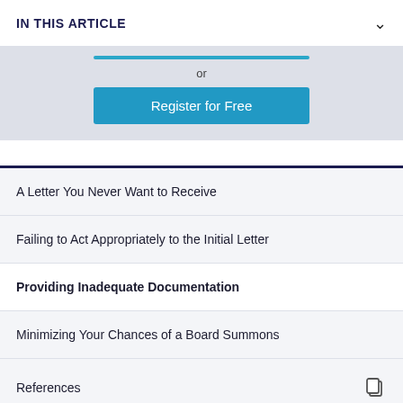IN THIS ARTICLE
[Figure (screenshot): Register for Free button with blue line above and 'or' text, on grey background]
A Letter You Never Want to Receive
Failing to Act Appropriately to the Initial Letter
Providing Inadequate Documentation
Minimizing Your Chances of a Board Summons
References